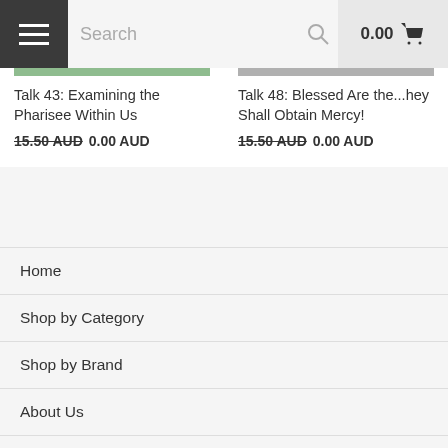Search  0.00
Talk 43: Examining the Pharisee Within Us
15.50 AUD  0.00 AUD
Talk 48: Blessed Are the...hey Shall Obtain Mercy!
15.50 AUD  0.00 AUD
Home
Shop by Category
Shop by Brand
About Us
Prayer Requests
Donations
Information
Videos & Articles
By Father Kosmas
Sign up for our Newsletter